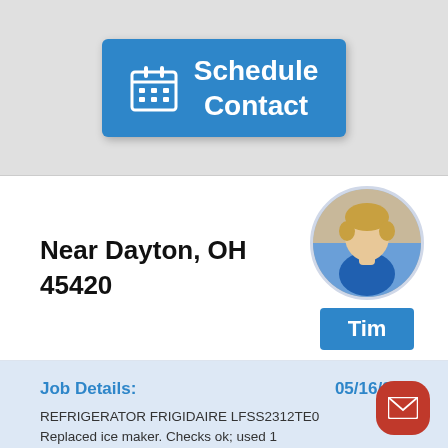[Figure (screenshot): Blue button with calendar icon and text 'Schedule Contact']
Near Dayton, OH 45420
[Figure (photo): Circular profile photo of a man named Tim]
Tim
Job Details:   05/16/2019
REFRIGERATOR FRIGIDAIRE LFSS2312TE0 Replaced ice maker. Checks ok; used 1 241798224 (IMK) from stock